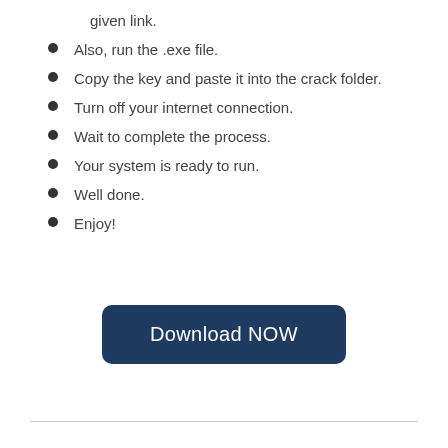given link.
Also, run the .exe file.
Copy the key and paste it into the crack folder.
Turn off your internet connection.
Wait to complete the process.
Your system is ready to run.
Well done.
Enjoy!
[Figure (other): Dark blue rounded rectangle button with white text reading 'Download NOW']